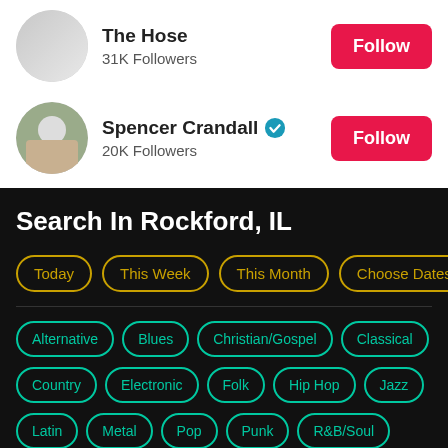The Hose
31K Followers
Spencer Crandall [verified]
20K Followers
Search In Rockford, IL
Today
This Week
This Month
Choose Dates
Alternative
Blues
Christian/Gospel
Classical
Country
Electronic
Folk
Hip Hop
Jazz
Latin
Metal
Pop
Punk
R&B/Soul
Reggae
Rock